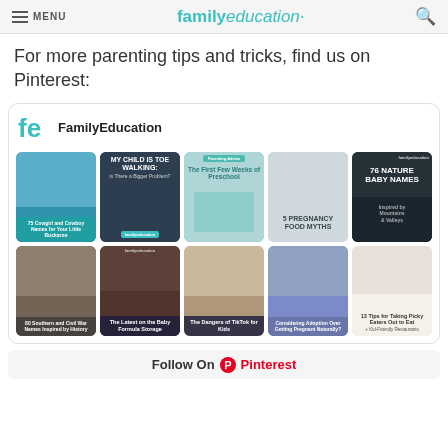MENU | familyeducation
For more parenting tips and tricks, find us on Pinterest:
[Figure (screenshot): Pinterest board embed showing FamilyEducation brand with 10 pin images in a 5x2 grid: 75 Cowgirl and Cowboy Names for Your Little Buckaroo, My Child is Toe Walking: Is There a Bigger Problem?, The First Few Weeks of Preschool, 5 Pregnancy Food Myths, 76 Nature Baby Names Inspired by Mountains & Valleys, 80 Southern and Civil War Names Inspired by History, The Latest on the Baby Formula Storage, The Dangers of TikTok for Kids, Considering Adoption Over Getting Pregnant Naturally?, 13 Tips for Taking Picky Eaters Out to Eat + Kid-Friendly Restaurants]
Follow On Pinterest